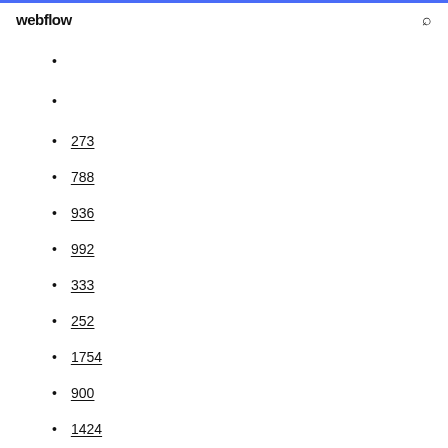webflow
273
788
936
992
333
252
1754
900
1424
1086